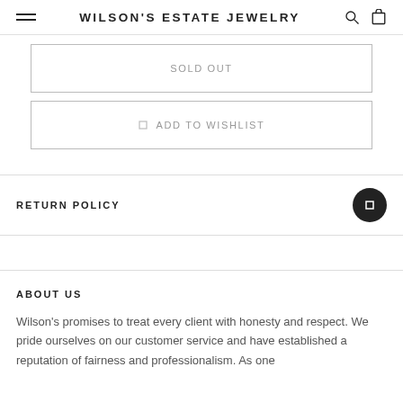WILSON'S ESTATE JEWELRY
SOLD OUT
ADD TO WISHLIST
RETURN POLICY
ABOUT US
Wilson's promises to treat every client with honesty and respect. We pride ourselves on our customer service and have established a reputation of fairness and professionalism. As one